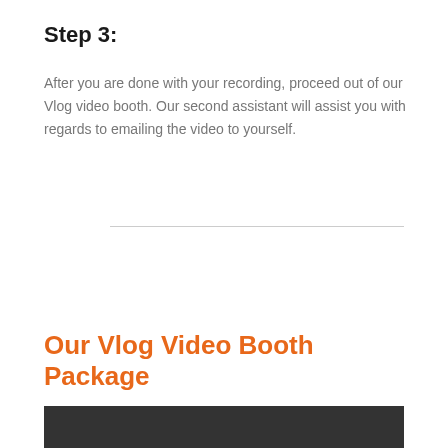Step 3:
After you are done with your recording, proceed out of our Vlog video booth. Our second assistant will assist you with regards to emailing the video to yourself.
Our Vlog Video Booth Package